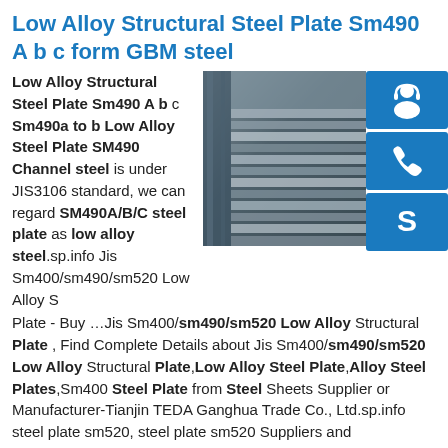Low Alloy Structural Steel Plate Sm490 A b c form GBM steel
Low Alloy Structural Steel Plate Sm490 A b c Sm490a to b Low Alloy Steel Plate SM490 Channel steel is under JIS3106 standard, we can regard SM490A/B/C steel plate as low alloy steel.sp.info Jis Sm400/sm490/sm520 Low Alloy S Plate - Buy …Jis Sm400/sm490/sm520 Low Alloy Structural Plate , Find Complete Details about Jis Sm400/sm490/sm520 Low Alloy Structural Plate,Low Alloy Steel Plate,Alloy Steel Plates,Sm400 Steel Plate from Steel Sheets Supplier or Manufacturer-Tianjin TEDA Ganghua Trade Co., Ltd.sp.info steel plate sm520, steel plate sm520 Suppliers and ...Alibaba.com offers 313 steel plate sm520 products. About 72% of these are Steel Sheets, 0% are Stainless Steel Sheets. A wide variety of
[Figure (photo): Photo of stacked low alloy steel plates in a warehouse/storage setting, with blue contact icon buttons (headset/customer service, phone, Skype) on the right side]